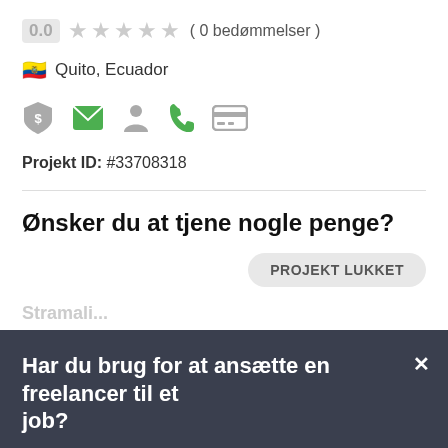0.0 ★★★★★ ( 0 bedømmelser )
🇪🇨 Quito, Ecuador
[Figure (infographic): Row of icons: dollar shield (grey), envelope (green), person (grey), phone (green), credit card (grey)]
Projekt ID: #33708318
Ønsker du at tjene nogle penge?
PROJEKT LUKKET
Har du brug for at ansætte en freelancer til et job?
Opret et projekt